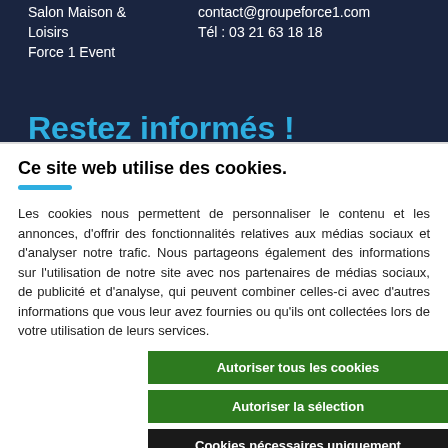Salon Maison & Loisirs
Force 1 Event
contact@groupeforce1.com
Tél : 03 21 63 18 18
Restez informés !
Ce site web utilise des cookies.
Les cookies nous permettent de personnaliser le contenu et les annonces, d'offrir des fonctionnalités relatives aux médias sociaux et d'analyser notre trafic. Nous partageons également des informations sur l'utilisation de notre site avec nos partenaires de médias sociaux, de publicité et d'analyse, qui peuvent combiner celles-ci avec d'autres informations que vous leur avez fournies ou qu'ils ont collectées lors de votre utilisation de leurs services.
Autoriser tous les cookies
Autoriser la sélection
Cookies nécessaires uniquement
Nécessaires  Préférences  Statistiques  Marketing  Afficher les détails